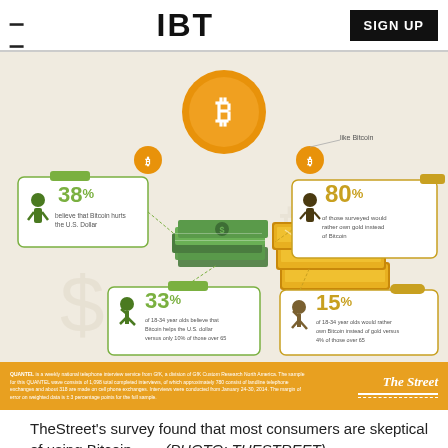IBT | SIGN UP
[Figure (infographic): Bitcoin survey infographic showing: 38% believe Bitcoin hurts the U.S. Dollar; 80% of those surveyed would rather own gold instead of Bitcoin; 33% of 18-34 year olds believe that Bitcoin helps the U.S. dollar versus only 10% of those over 65; 15% of 18-34 year olds would rather own Bitcoin instead of gold versus 4% of those over 65. Features images of stacked dollar bills, gold bars, Bitcoin symbol, and human silhouettes. Source: The Street.]
TheStreet's survey found that most consumers are skeptical of using Bitcoin.        (PHOTO: THESTREET)